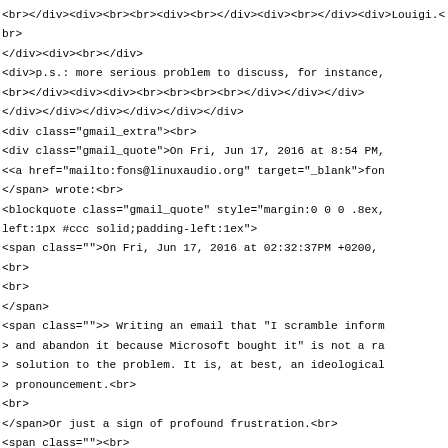<br></div><div><br><br><div><br></div><div><br></div><div>Louigi.<br>
</div><div><br></div>
<div>p.s.: more serious problem to discuss, for instance,
<br></div><div><div><br><br><br><br></div></div></div>
</div></div></div></div></div></div>
<div class="gmail_extra"><br>
<div class="gmail_quote">On Fri, Jun 17, 2016 at 8:54 PM,
<<a href="mailto:fons@linuxaudio.org" target="_blank">fon
</span> wrote:<br>
<blockquote class="gmail_quote" style="margin:0 0 0 .8ex,
left:1px #ccc solid;padding-left:1ex">
<span class="">On Fri, Jun 17, 2016 at 02:32:37PM +0200,
<br>
<br>
</span>
<span class="">> Writing an email that "I scramble inform
> and abandon it because Microsoft bought it" is not a ra
> solution to the problem. It is, at best, an ideological
> pronouncement.<br>
<br>
</span>Or just a sign of profound frustration.<br>
<span class=""><br>
> A way to show what side of the fence you are on.<br>
<br>
</span>This is not really about being on either side of a
<br>
It's more about what we regard as acceptable behaviour.
<br>
<span class="im HOEnZb"><br>
Ciao,<br>